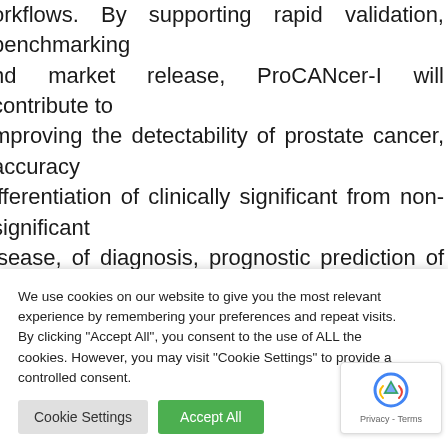workflows. By supporting rapid validation, benchmarking and market release, ProCANcer-I will contribute to improving the detectability of prostate cancer, accuracy differentiation of clinically significant from non-significant disease, of diagnosis, prognostic prediction of disease recurrence, assessment of treatment-related toxicity and accurate patient stratification, minimizing medical errors, enhancing clinical outcomes and quality of care.
ddressing a significant societal problem in the second
We use cookies on our website to give you the most relevant experience by remembering your preferences and repeat visits. By clicking "Accept All", you consent to the use of ALL the cookies. However, you may visit "Cookie Settings" to provide a controlled consent.